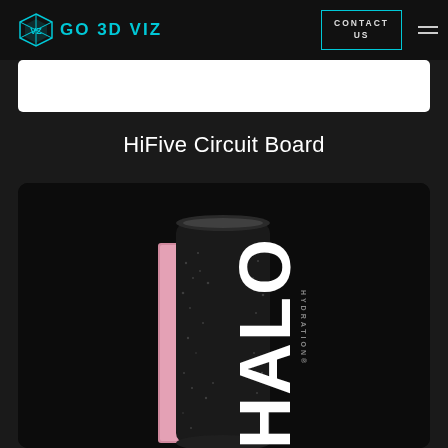GO 3D VIZ | CONTACT US
HiFive Circuit Board
[Figure (photo): Product photo of a HALO HYDRATION black beverage can with condensation droplets, shown against a dark background with a pink liquid stripe detail on the left side of the can.]